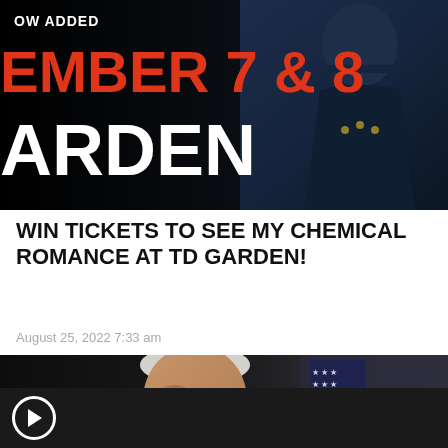[Figure (photo): Concert promotional banner with dark background. Text reads 'NOW ADDED' at top, 'EMBER 7 & 8' in large red text, 'ARDEN' in large white text. Right side shows a military/uniformed figure silhouette in dark blue tones.]
WIN TICKETS TO SEE MY CHEMICAL ROMANCE AT TD GARDEN!
August 25, 2022 7:33 am
[Figure (photo): Photograph of President Joe Biden speaking, with American flags visible in the background. He is shown in profile/three-quarter view. Below the image is a dark bar with a circular play button icon indicating this is a video.]